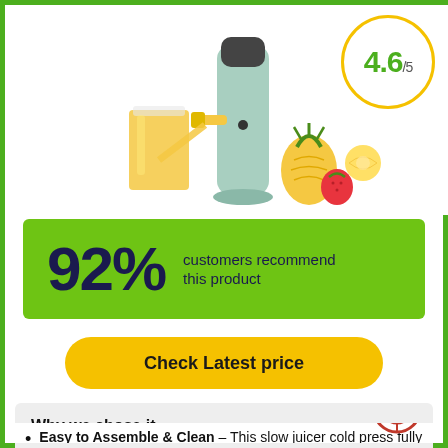[Figure (photo): Product photo of a slow juicer/cold press machine in mint green color, with a glass of orange/yellow juice and fruits (pineapple, strawberry, lemon) beside it. A rating badge showing 4.6/5 in a yellow circle is in the top right corner.]
4.6/5
92% customers recommend this product
Check Latest price
Why we chose it
Easy to Assemble & Clean – This slow juicer cold press fully considers the needs of users